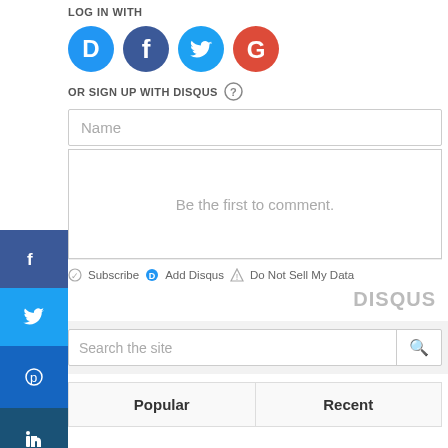LOG IN WITH
[Figure (other): Social login icons: Disqus (blue D), Facebook (blue F), Twitter (cyan bird), Google (red G)]
OR SIGN UP WITH DISQUS ?
Name
Be the first to comment.
Subscribe  Add Disqus  Do Not Sell My Data  DISQUS
Search the site
| Popular | Recent |
| --- | --- |